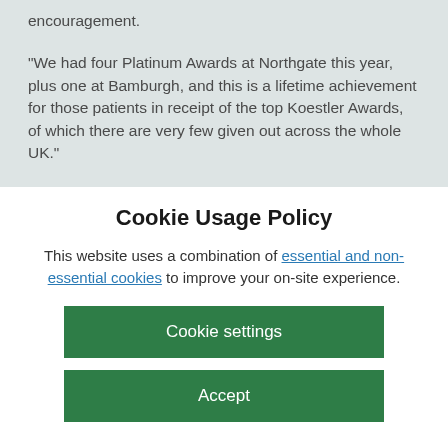encouragement.
“We had four Platinum Awards at Northgate this year, plus one at Bamburgh, and this is a lifetime achievement for those patients in receipt of the top Koestler Awards, of which there are very few given out across the whole UK.”
Cookie Usage Policy
This website uses a combination of essential and non-essential cookies to improve your on-site experience.
Cookie settings
Accept